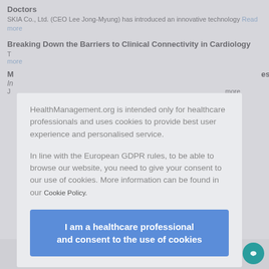Doctors
SKIA Co., Ltd. (CEO Lee Jong-Myung) has introduced an innovative technology Read more
Breaking Down the Barriers to Clinical Connectivity in Cardiology
T... Read more
M... es
I...
J... more
[Figure (screenshot): Cookie consent modal overlay on HealthManagement.org website. Modal contains text: 'HealthManagement.org is intended only for healthcare professionals and uses cookies to provide best user experience and personalised service. In line with the European GDPR rules, to be able to browse our website, you need to give your consent to our use of cookies. More information can be found in our Cookie Policy.' And a blue button: 'I am a healthcare professional and consent to the use of cookies']